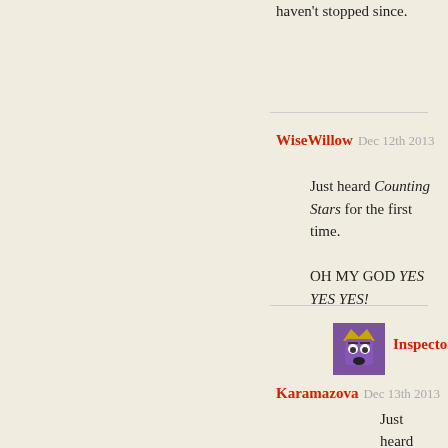haven't stopped since.
WiseWillow Dec 12th 2013
Just heard Counting Stars for the first time.

OH MY GOD YES YES YES!
[Figure (illustration): Pixel art avatar of a purple cartoon face with gold crown-like top, wide eyes and open mouth, on a purple background]
Inspector Karamazova Dec 13th 2013
Just heard Counting Stars for the first